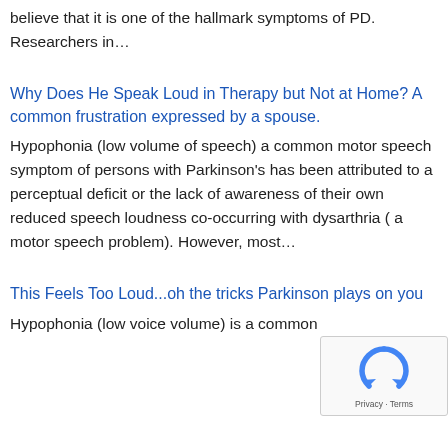believe that it is one of the hallmark symptoms of PD. Researchers in…
Why Does He Speak Loud in Therapy but Not at Home? A common frustration expressed by a spouse.
Hypophonia (low volume of speech) a common motor speech symptom of persons with Parkinson's has been attributed to a perceptual deficit or the lack of awareness of their own reduced speech loudness co-occurring with dysarthria ( a motor speech problem). However, most…
This Feels Too Loud...oh the tricks Parkinson plays on you
Hypophonia (low voice volume) is a common